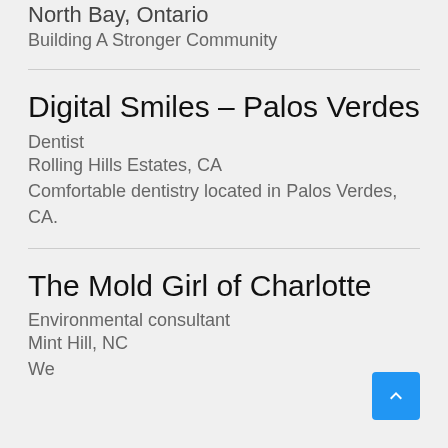North Bay, Ontario
Building A Stronger Community
Digital Smiles – Palos Verdes
Dentist
Rolling Hills Estates, CA
Comfortable dentistry located in Palos Verdes, CA.
The Mold Girl of Charlotte
Environmental consultant
Mint Hill, NC
We